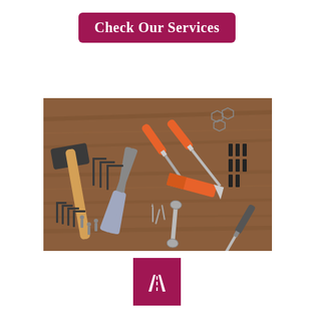Check Our Services
[Figure (photo): Overhead flat-lay photograph of various hand tools arranged on a wooden surface, including a hammer, pliers, screwdrivers, hex keys, a utility knife, a wrench, screws, nuts, and drill bits.]
[Figure (logo): White road/highway icon on a dark pink/maroon square background — a road symbol with white lane markings.]